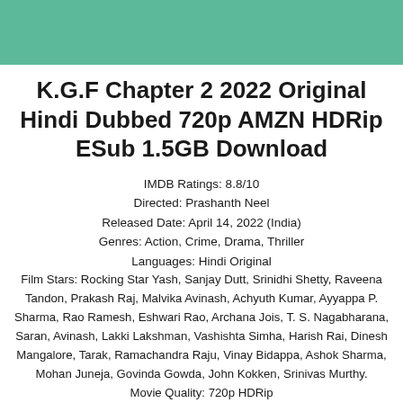[Figure (other): Teal/green colored header banner bar]
K.G.F Chapter 2 2022 Original Hindi Dubbed 720p AMZN HDRip ESub 1.5GB Download
IMDB Ratings: 8.8/10
Directed: Prashanth Neel
Released Date: April 14, 2022 (India)
Genres: Action, Crime, Drama, Thriller
Languages: Hindi Original
Film Stars: Rocking Star Yash, Sanjay Dutt, Srinidhi Shetty, Raveena Tandon, Prakash Raj, Malvika Avinash, Achyuth Kumar, Ayyappa P. Sharma, Rao Ramesh, Eshwari Rao, Archana Jois, T. S. Nagabharana, Saran, Avinash, Lakki Lakshman, Vashishta Simha, Harish Rai, Dinesh Mangalore, Tarak, Ramachandra Raju, Vinay Bidappa, Ashok Sharma, Mohan Juneja, Govinda Gowda, John Kokken, Srinivas Murthy.
Movie Quality: 720p HDRip